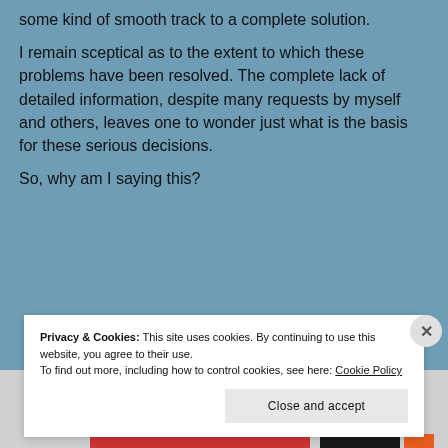some kind of smooth track to a complete solution.
I remain sceptical as to the extent to which these problems have been resolved. The complete lack of detailed information, despite many requests by myself and others, leaves one to wonder just what is the basis for these serious decisions.
So, why am I saying this?
Privacy & Cookies: This site uses cookies. By continuing to use this website, you agree to their use.
To find out more, including how to control cookies, see here: Cookie Policy
Close and accept